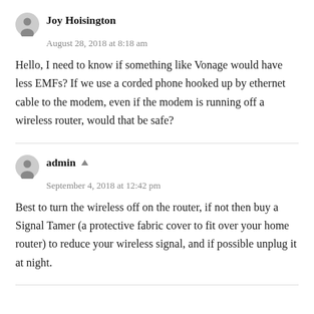Joy Hoisington
August 28, 2018 at 8:18 am
Hello, I need to know if something like Vonage would have less EMFs? If we use a corded phone hooked up by ethernet cable to the modem, even if the modem is running off a wireless router, would that be safe?
admin
September 4, 2018 at 12:42 pm
Best to turn the wireless off on the router, if not then buy a Signal Tamer (a protective fabric cover to fit over your home router) to reduce your wireless signal, and if possible unplug it at night.